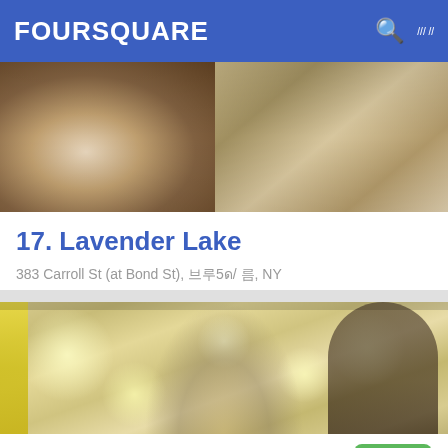FOURSQUARE
[Figure (photo): Food photos showing dishes at Lavender Lake restaurant]
17. Lavender Lake
383 Carroll St (at Bond St), 브루클린, NY
바 · Gowanus · 164개의 팁 및 리뷰
[Figure (photo): Interior photo of Trader Joe's showing ornate ceiling with hanging bulb lights and arched windows]
18. Trader Joe's
130 Court St (at Atlantic Ave), 브루클린, NY